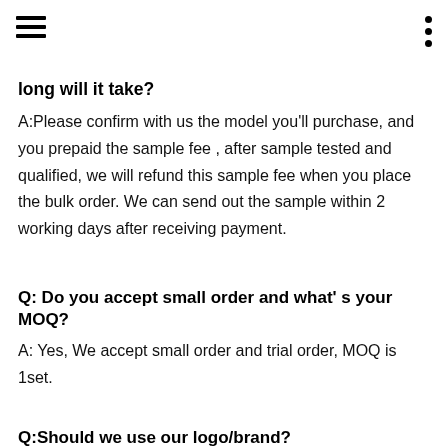[hamburger menu icon] [vertical dots menu icon]
long will it take?
A:Please confirm with us the model you'll purchase, and you prepaid the sample fee , after sample tested and qualified, we will refund this sample fee when you place the bulk order. We can send out the sample within 2 working days after receiving payment.
Q: Do you accept small order and what' s your MOQ?
A: Yes, We accept small order and trial order, MOQ is 1set.
Q:Should we use our logo/brand?
A: Yes, of course. OEM is absolutely supported. But there is